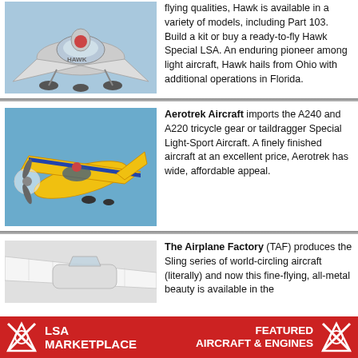[Figure (photo): Silver/chrome ultralight aircraft (Hawk) in flight against blue sky, front view]
flying qualities, Hawk is available in a variety of models, including Part 103. Build a kit or buy a ready-to-fly Hawk Special LSA. An enduring pioneer among light aircraft, Hawk hails from Ohio with additional operations in Florida.
[Figure (photo): Yellow and blue Aerotrek aircraft in flight against blue sky]
Aerotrek Aircraft imports the A240 and A220 tricycle gear or taildragger Special Light-Sport Aircraft. A finely finished aircraft at an excellent price, Aerotrek has wide, affordable appeal.
[Figure (photo): White Sling aircraft (The Airplane Factory) partial view against white/grey background]
The Airplane Factory (TAF) produces the Sling series of world-circling aircraft (literally) and now this fine-flying, all-metal beauty is available in the
[Figure (logo): LSA Marketplace logo - red background with white X cross logo and text LSA MARKETPLACE]
[Figure (logo): Featured Aircraft & Engines logo - red background with white X cross logo and text FEATURED AIRCRAFT & ENGINES]